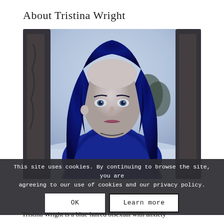About Tristina Wright
[Figure (photo): Portrait photo of Tristina Wright, a woman with long blue hair wearing a blue coat, photographed outdoors in a snowy setting with trees in the background.]
This site uses cookies. By continuing to browse the site, you are agreeing to our use of cookies and our privacy policy.
OK  Learn more
Tristina Wright is a blue-haired bisexual with anxiety